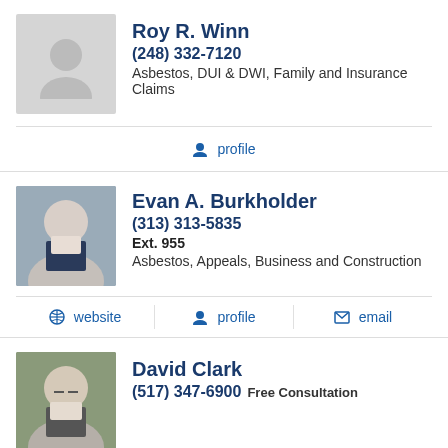[Figure (photo): Placeholder silhouette avatar for Roy R. Winn]
Roy R. Winn
(248) 332-7120
Asbestos, DUI & DWI, Family and Insurance Claims
profile
[Figure (photo): Photo of Evan A. Burkholder, a man in a suit]
Evan A. Burkholder
(313) 313-5835
Ext. 955
Asbestos, Appeals, Business and Construction
website
profile
email
[Figure (photo): Photo of David Clark, a man with glasses]
David Clark
(517) 347-6900 Free Consultation